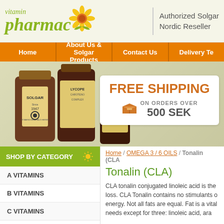[Figure (logo): Vitamin Pharmacy logo with sunflower graphic and green italic text]
Authorized Solgar Nordic Reseller
Home | About Us & Solgar Products | Contact Us | Delivery Te...
[Figure (photo): Banner with Solgar vitamin bottles and free shipping promotion box]
SHOP BY CATEGORY
A VITAMINS
B VITAMINS
C VITAMINS
Home / OMEGA 3 / 6 OILS / Tonalin (CLA)
Tonalin (CLA)
CLA tonalin conjugated linoleic acid is the... loss. CLA Tonalin contains no stimulants o... energy. Not all fats are equal. Fat is a vital... needs except for three: linoleic acid, ara...